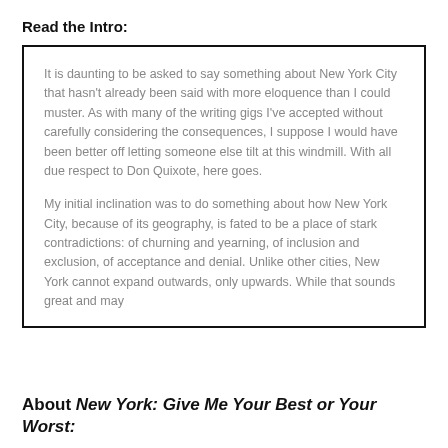Read the Intro:
It is daunting to be asked to say something about New York City that hasn’t already been said with more eloquence than I could muster. As with many of the writing gigs I’ve accepted without carefully considering the consequences, I suppose I would have been better off letting someone else tilt at this windmill. With all due respect to Don Quixote, here goes.
My initial inclination was to do something about how New York City, because of its geography, is fated to be a place of stark contradictions: of churning and yearning, of inclusion and exclusion, of acceptance and denial. Unlike other cities, New York cannot expand outwards, only upwards. While that sounds great and may
About New York: Give Me Your Best or Your Worst: